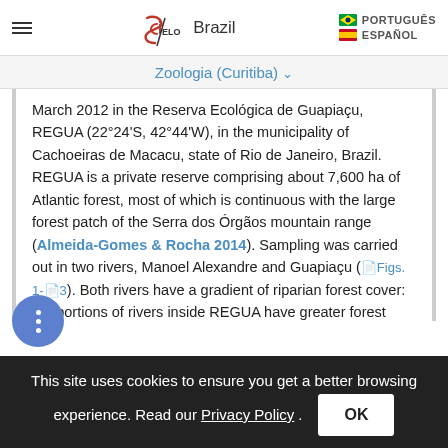SciELO Brazil | PORTUGUÊS | ESPAÑOL
Zoologia (Curitiba) ˅
March 2012 in the Reserva Ecológica de Guapiaçu, REGUA (22°24'S, 42°44'W), in the municipality of Cachoeiras de Macacu, state of Rio de Janeiro, Brazil. REGUA is a private reserve comprising about 7,600 ha of Atlantic forest, most of which is continuous with the large forest patch of the Serra dos Órgãos mountain range (Almeida-Gomes & Rocha 2014). Sampling was carried out in two rivers, Manoel Alexandre and Guapiaçu (Figs. 1-3). Both rivers have a gradient of riparian forest cover: the portions of rivers inside REGUA have greater forest cover,
This site uses cookies to ensure you get a better browsing experience. Read our Privacy Policy.